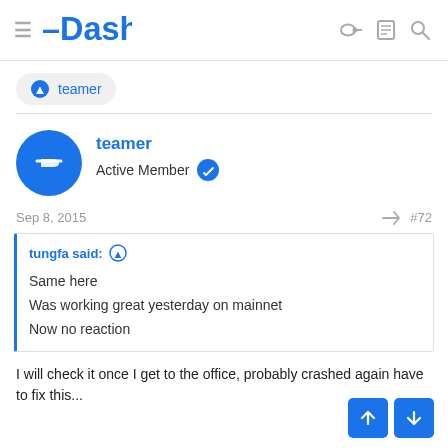Dash
teamer
teamer
Active Member
Sep 8, 2015	#72
tungfa said:
Same here
Was working great yesterday on mainnet
Now no reaction
I will check it once I get to the office, probably crashed again have to fix this...